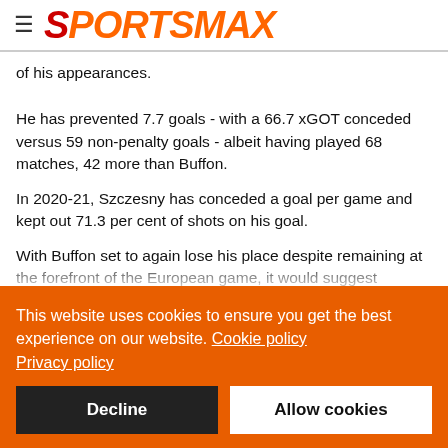≡ SPORTSMAX
of his appearances.
He has prevented 7.7 goals - with a 66.7 xGOT conceded versus 59 non-penalty goals - albeit having played 68 matches, 42 more than Buffon.
In 2020-21, Szczesny has conceded a goal per game and kept out 71.3 per cent of shots on his goal.
With Buffon set to again lose his place despite remaining at the forefront of the European game, it would suggest Gianluigi...
This website uses cookies to ensure you get the best experience on our website. Cookie policy
Privacy policy
Decline
Allow cookies